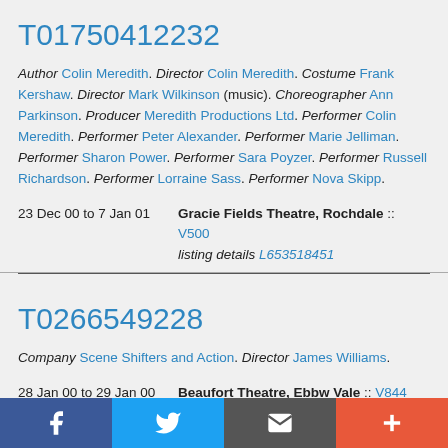T01750412232
Author Colin Meredith. Director Colin Meredith. Costume Frank Kershaw. Director Mark Wilkinson (music). Choreographer Ann Parkinson. Producer Meredith Productions Ltd. Performer Colin Meredith. Performer Peter Alexander. Performer Marie Jelliman. Performer Sharon Power. Performer Sara Poyzer. Performer Russell Richardson. Performer Lorraine Sass. Performer Nova Skipp.
| Date | Venue |
| --- | --- |
| 23 Dec 00 to 7 Jan 01 | Gracie Fields Theatre, Rochdale :: V500
listing details L653518451 |
T0266549228
Company Scene Shifters and Action. Director James Williams.
| Date | Venue |
| --- | --- |
| 28 Jan 00 to 29 Jan 00 | Beaufort Theatre, Ebbw Vale :: V844 |